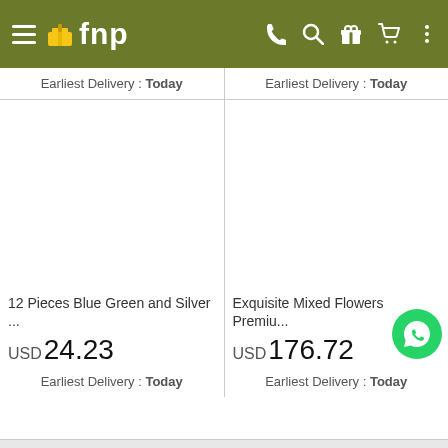fnp navigation bar with hamburger menu, logo, phone, search, gift, cart, and more icons
Earliest Delivery : Today
Earliest Delivery : Today
12 Pieces Blue Green and Silver ...
USD 24.23
Earliest Delivery : Today
Exquisite Mixed Flowers Premiu...
USD 176.72
Earliest Delivery : Today